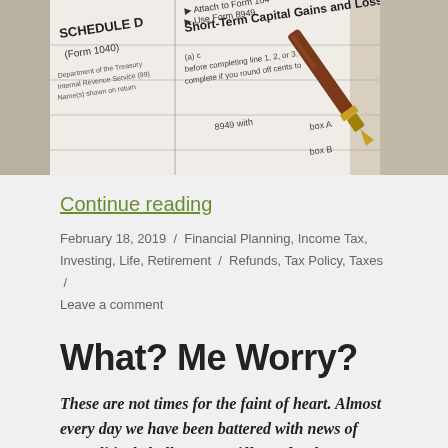[Figure (photo): A close-up photo of IRS Schedule D (Form 1040) tax form showing 'Short-Term Capital Gains and Losses — Assets' with a fountain pen resting on top of the form.]
Continue reading
February 18, 2019 / Financial Planning, Income Tax, Investing, Life, Retirement / Refunds, Tax Policy, Taxes / Leave a comment
What? Me Worry?
These are not times for the faint of heart. Almost every day we have been battered with news of geopolitical challenges, tariffs, Federal government